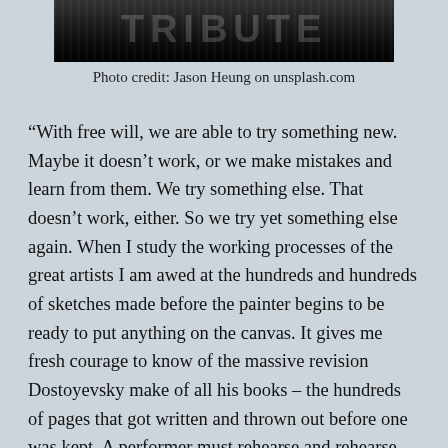[Figure (photo): Black and white photo (partially visible at top of page), dark tones with blurred text/graffiti in background]
Photo credit: Jason Heung on unsplash.com
“With free will, we are able to try something new. Maybe it doesn’t work, or we make mistakes and learn from them. We try something else. That doesn’t work, either. So we try yet something else again. When I study the working processes of the great artists I am awed at the hundreds and hundreds of sketches made before the painter begins to be ready to put anything on the canvas. It gives me fresh courage to know of the massive revision Dostoyevsky make of all his books – the hundreds of pages that got written and thrown out before one was kept. A performer must rehearse and rehearse and rehearse, making mistakes, discarding, trying again and again.”